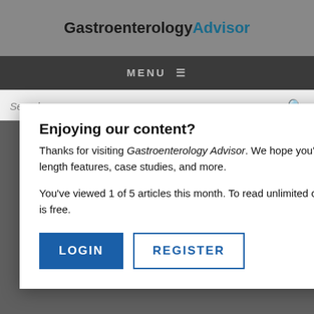GastroenterologyAdvisor
MENU ≡
Search...
Enjoying our content?
Thanks for visiting Gastroenterology Advisor. We hope you're enjoying the latest clinical news, full-length features, case studies, and more.
You've viewed 1 of 5 articles this month. To read unlimited content, please log in below. Registration is free.
LOGIN
REGISTER
NEXT POST IN LIVE
Less Th... Protec...